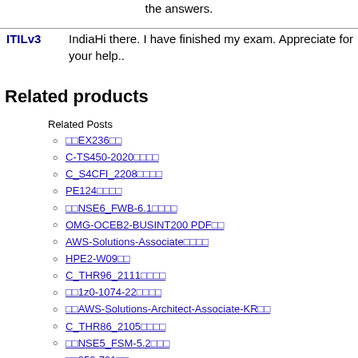the answers.
ITILv3  IndiaHi there. I have finished my exam. Appreciate for your help..
Related products
Related Posts
EX236試験
C-TS450-2020試験問題
C_S4CFI_2208試験問題
PE124試験問題
最新NSE6_FWB-6.1試験
OMG-OCEB2-BUSINT200 PDF問題
AWS-Solutions-Associate試験問題
HPE2-W09試験
C_THR96_2111試験問題
最新1z0-1074-22試験問題
最新AWS-Solutions-Architect-Associate-KR試験
C_THR86_2105試験問題
最新NSE5_FSM-5.2試験
最新350-701試験
最新E_C4HYCP_12試験
4A0-N06試験問題
C_THR83_2205試験
NSE6_FSW-6.4試験問題
C-TS462-2020試験問題